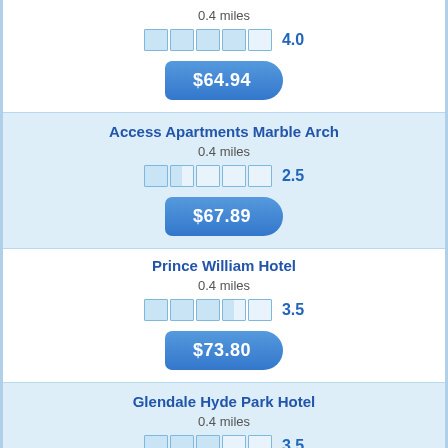0.4 miles
4.0
$64.94
Access Apartments Marble Arch
0.4 miles
2.5
$67.89
Prince William Hotel
0.4 miles
3.5
$73.80
Glendale Hyde Park Hotel
0.4 miles
3.5